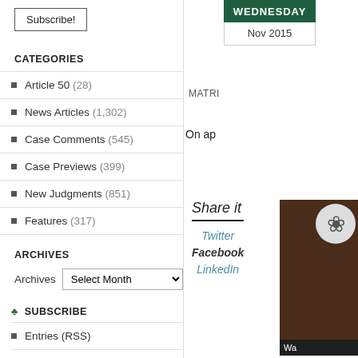Subscribe!
CATEGORIES
Article 50 (28)
News Articles (1,302)
Case Comments (545)
Case Previews (399)
New Judgments (851)
Features (317)
ARCHIVES
Archives  Select Month
♣ SUBSCRIBE
Entries (RSS)
Comments (RSS)
WEDNESDAY
Nov 2015
MATRI
On ap
Share it
Twitter
Facebook
LinkedIn
[Figure (photo): Brown background photo with circular logo/icon and dark overlay with text 'Wa']